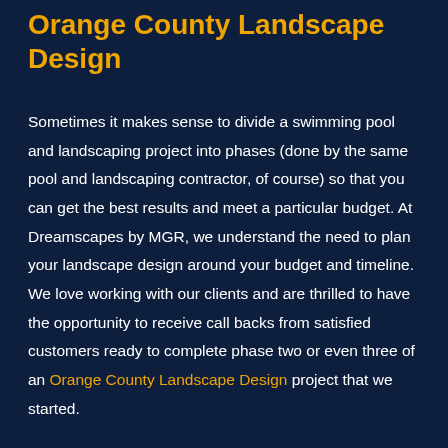Orange County Landscape Design
Sometimes it makes sense to divide a swimming pool and landscaping project into phases (done by the same pool and landscaping contractor, of course) so that you can get the best results and meet a particular budget. At Dreamscapes by MGR, we understand the need to plan your landscape design around your budget and timeline. We love working with our clients and are thrilled to have the opportunity to receive call backs from satisfied customers ready to complete phase two or even three of an Orange County Landscape Design project that we started.